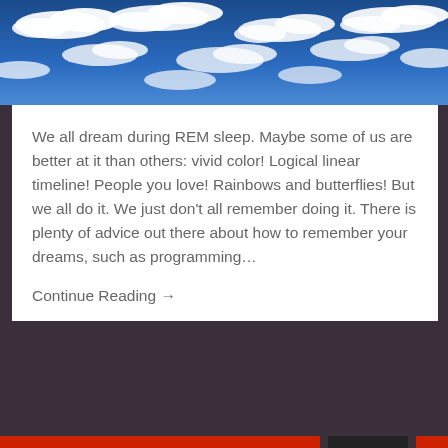[Figure (photo): Blue sky with white clouds photograph used as header image]
We all dream during REM sleep. Maybe some of us are better at it than others: vivid color! Logical linear timeline! People you love! Rainbows and butterflies! But we all do it. We just don't all remember doing it. There is plenty of advice out there about how to remember your dreams, such as programming...
Continue Reading →
Privacy & Cookies: This site uses cookies. By continuing to use this website, you agree to their use.
To find out more, including how to control cookies, see here: Cookie Policy
Close and accept